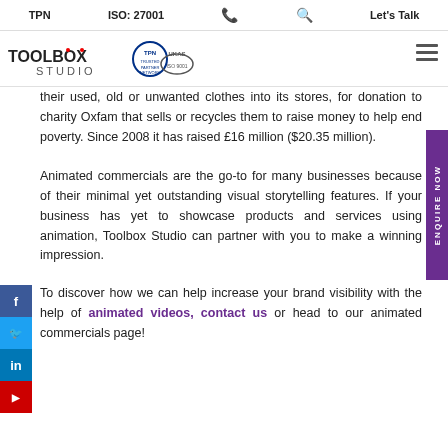TPN   ISO: 27001   📞   🔍   Let's Talk
[Figure (logo): Toolbox Studio logo with TPN Trusted Partner Network badge and a certification badge]
their used, old or unwanted clothes into its stores, for donation to charity Oxfam that sells or recycles them to raise money to help end poverty. Since 2008 it has raised £16 million ($20.35 million).
Animated commercials are the go-to for many businesses because of their minimal yet outstanding visual storytelling features. If your business has yet to showcase products and services using animation, Toolbox Studio can partner with you to make a winning impression.
To discover how we can help increase your brand visibility with the help of animated videos, contact us or head to our animated commercials page!